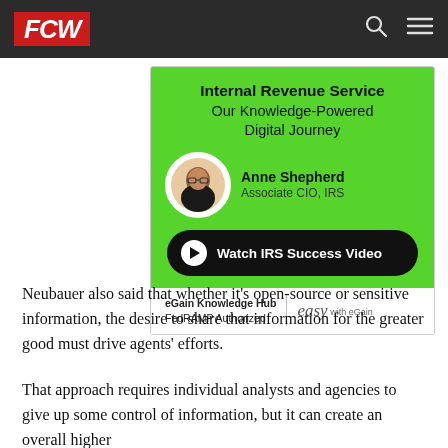FCW
[Figure (infographic): Advertisement banner for eGain Knowledge Hub featuring Internal Revenue Service - Our Knowledge-Powered Digital Journey, with Anne Shepherd, Associate CIO IRS, and a Watch IRS Success Video button. FedRAMP Authorized. easy with eGain logo.]
Neubauer also said that whether it’s open-source or sensitive information, the desire to share that information for the greater good must drive agents’ efforts.
That approach requires individual analysts and agencies to give up some control of information, but it can create an overall higher